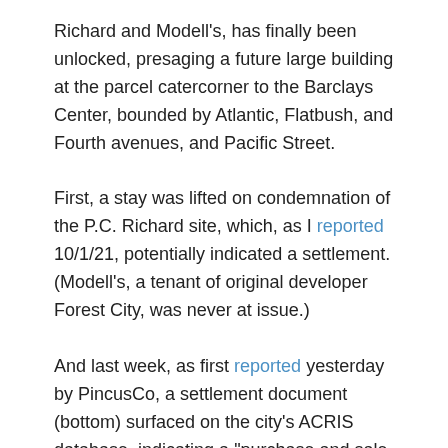Richard and Modell's, has finally been unlocked, presaging a future large building at the parcel catercorner to the Barclays Center, bounded by Atlantic, Flatbush, and Fourth avenues, and Pacific Street.
First, a stay was lifted on condemnation of the P.C. Richard site, which, as I reported 10/1/21, potentially indicated a settlement. (Modell's, a tenant of original developer Forest City, was never at issue.)
And last week, as first reported yesterday by PincusCo, a settlement document (bottom) surfaced on the city's ACRIS database, indicating a "purchase and sale agreement" and "development agreement"--the contours and cost unspecified--between P.C. Richard's parent company A.J. Richard and a limited liability company called Pacific Park Site 5 Developer,